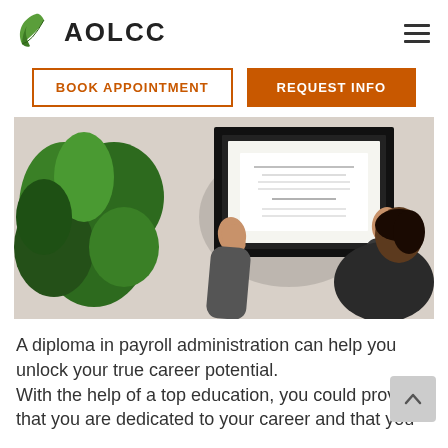[Figure (logo): AOLCC logo with green leaf icon and bold text 'AOLCC']
[Figure (photo): A person in a dark blazer hanging a framed certificate/diploma on a white wall, with a green plant on the left side]
A diploma in payroll administration can help you unlock your true career potential.
With the help of a top education, you could prove that you are dedicated to your career and that you